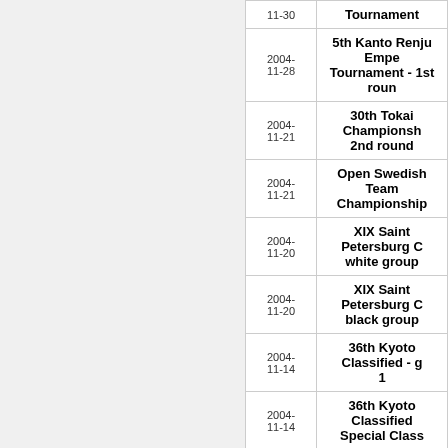| Date | Tournament |
| --- | --- |
| 11-30 | Tournament |
| 2004-11-28 | 5th Kanto Renju Emperor Tournament - 1st round |
| 2004-11-21 | 30th Tokai Championship 2nd round |
| 2004-11-21 | Open Swedish Team Championship |
| 2004-11-20 | XIX Saint Petersburg C white group |
| 2004-11-20 | XIX Saint Petersburg C black group |
| 2004-11-14 | 36th Kyoto Classified - g 1 |
| 2004-11-14 | 36th Kyoto Classified Special Class |
| 2004-11-14 | Swedish Cup 2004 Final |
| 2004-11-14 | The 42nd Meijin-sen Ma |
| 2004-... | XIII Russian Championship |